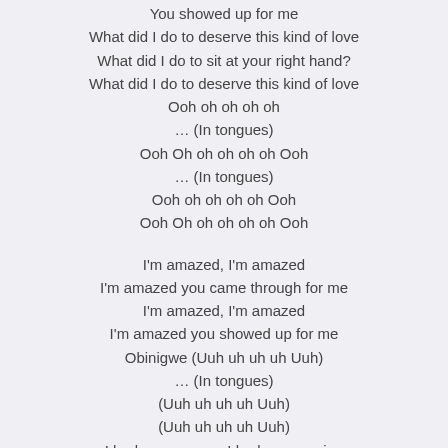You showed up for me
What did I do to deserve this kind of love
What did I do to sit at your right hand?
What did I do to deserve this kind of love
Ooh oh oh oh oh
... (In tongues)
Ooh Oh oh oh oh oh Ooh
... (In tongues)
Ooh oh oh oh oh Ooh
Ooh Oh oh oh oh oh Ooh

I'm amazed, I'm amazed
I'm amazed you came through for me
I'm amazed, I'm amazed
I'm amazed you showed up for me
Obinigwe (Uuh uh uh uh Uuh)
... (In tongues)
(Uuh uh uh uh Uuh)
(Uuh uh uh uh Uuh)
I had no essence, I had no meaning